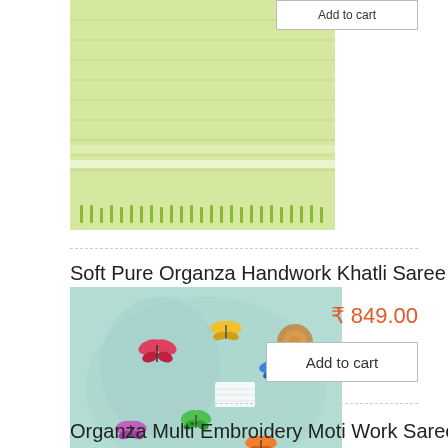[Figure (photo): Light green/yellow saree folded and displayed, with decorative fringe at the bottom]
Add to cart
Soft Pure Organza Handwork Khatli Saree
[Figure (photo): Light blue/mint organza saree with colorful butterfly embroidery, displayed folded with a small decorative item on top]
₹ 849.00
Add to cart
Organza Multi Embroidery Moti Work Saree